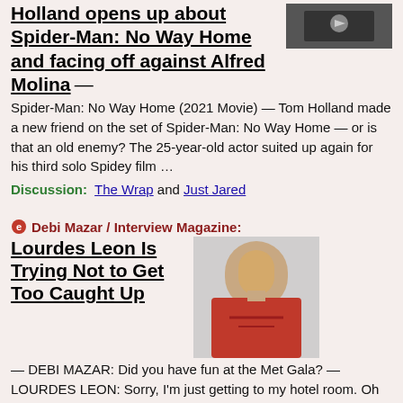Holland opens up about Spider-Man: No Way Home and facing off against Alfred Molina
[Figure (photo): Spider-Man movie thumbnail image]
Spider-Man: No Way Home (2021 Movie)  —  Tom Holland made a new friend on the set of Spider-Man: No Way Home — or is that an old enemy? The 25-year-old actor suited up again for his third solo Spidey film …
Discussion:  The Wrap and Just Jared
Debi Mazar / Interview Magazine:
Lourdes Leon Is Trying Not to Get Too Caught Up
[Figure (photo): Photo of Lourdes Leon in red outfit]
—  DEBI MAZAR: Did you have fun at the Met Gala?  —  LOURDES LEON: Sorry, I'm just getting to my hotel room.  Oh my god.  Did they throw out my weed?  I'm actually going to kill someone.  Okay.  It's fine.  I'll worry about that later.